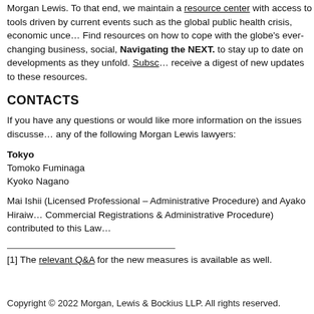Morgan Lewis. To that end, we maintain a resource center with access to tools driven by current events such as the global public health crisis, economic uncertainty. Find resources on how to cope with the globe's ever-changing business, social, Navigating the NEXT. to stay up to date on developments as they unfold. Subscribe to receive a digest of new updates to these resources.
CONTACTS
If you have any questions or would like more information on the issues discussed, any of the following Morgan Lewis lawyers:
Tokyo
Tomoko Fuminaga
Kyoko Nagano
Mai Ishii (Licensed Professional – Administrative Procedure) and Ayako Hiraiwa Commercial Registrations & Administrative Procedure) contributed to this LawFlash.
[1] The relevant Q&A for the new measures is available as well.
Copyright © 2022 Morgan, Lewis & Bockius LLP. All rights reserved.